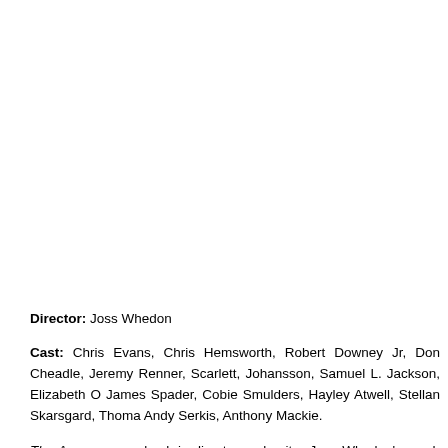Director: Joss Whedon
Cast: Chris Evans, Chris Hemsworth, Robert Downey Jr, Don Cheadle, Jeremy Renner, Scarlett, Johansson, Samuel L. Jackson, Elizabeth O, James Spader, Cobie Smulders, Hayley Atwell, Stellan Skarsgard, Thoma, Andy Serkis, Anthony Mackie.
The Avengers are back in director and writer Joss Whedon's much antici...